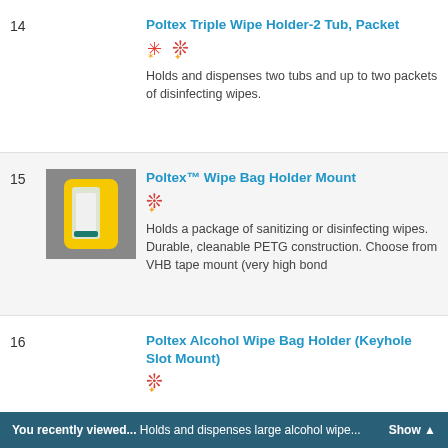14 Poltex Triple Wipe Holder-2 Tub, Packet — Holds and dispenses two tubs and up to two packets of disinfecting wipes.
15 Poltex™ Wipe Bag Holder Mount — Holds a package of sanitizing or disinfecting wipes. Durable, cleanable PETG construction. Choose from VHB tape mount (very high bond
16 Poltex Alcohol Wipe Bag Holder (Keyhole Slot Mount)
You recently viewed... Holds and dispenses large alcohol wipe... Show ▲